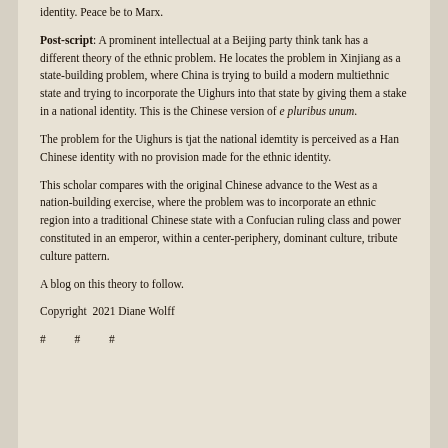identity. Peace be to Marx.
Post-script: A prominent intellectual at a Beijing party think tank has a different theory of the ethnic problem. He locates the problem in Xinjiang as a state-building problem, where China is trying to build a modern multiethnic state and trying to incorporate the Uighurs into that state by giving them a stake in a national identity. This is the Chinese version of e pluribus unum.
The problem for the Uighurs is tjat the national idemtity is perceived as a Han Chinese identity with no provision made for the ethnic identity.
This scholar compares with the original Chinese advance to the West as a nation-building exercise, where the problem was to incorporate an ethnic region into a traditional Chinese state with a Confucian ruling class and power constituted in an emperor, within a center-periphery, dominant culture, tribute culture pattern.
A blog on this theory to follow.
Copyright  2021 Diane Wolff
#          #          #